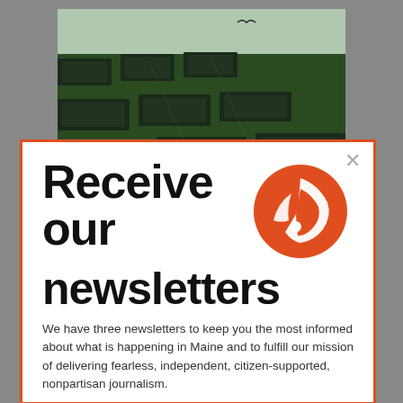[Figure (photo): Aerial view of solar panels in a green field]
Receive our newsletters
[Figure (logo): Orange circular logo with a pen/feather icon]
We have three newsletters to keep you the most informed about what is happening in Maine and to fulfill our mission of delivering fearless, independent, citizen-supported, nonpartisan journalism.
Click below to stay connected to Maine...